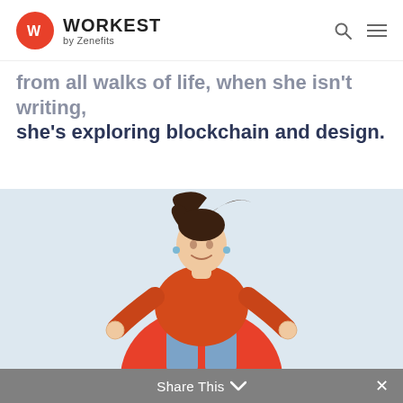WORKEST by Zenefits
she's exploring blockchain and design.
[Figure (photo): Woman in orange shirt jumping/floating in a meditative pose with hands in OK gesture, against a light blue background with a red circular graphic element below her. The image is partially cropped.]
Share This ∨ ×